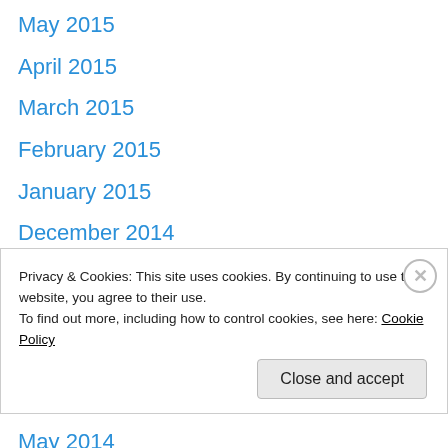May 2015
April 2015
March 2015
February 2015
January 2015
December 2014
November 2014
September 2014
July 2014
June 2014
May 2014
April 2014
March 2014
February 2014
Privacy & Cookies: This site uses cookies. By continuing to use this website, you agree to their use.
To find out more, including how to control cookies, see here: Cookie Policy
Close and accept